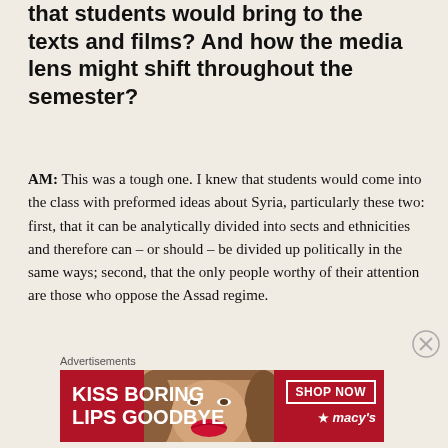that students would bring to the texts and films? And how the media lens might shift throughout the semester?
AM: This was a tough one. I knew that students would come into the class with preformed ideas about Syria, particularly these two: first, that it can be analytically divided into sects and ethnicities and therefore can – or should – be divided up politically in the same ways; second, that the only people worthy of their attention are those who oppose the Assad regime.
Advertisements
[Figure (illustration): Advertisement banner for Macy's lip product. Red background with a woman's face and red lips. Text reads 'KISS BORING LIPS GOODBYE' on the left, 'SHOP NOW' button and Macy's star logo on the right.]